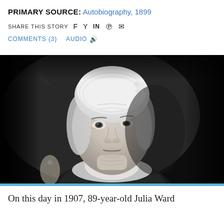PRIMARY SOURCE: Autobiography, 1899
SHARE THIS STORY  f  [twitter]  in  [pinterest]  [email]
COMMENTS (3)   AUDIO [speaker]
[Figure (photo): Black and white portrait photograph of an elderly woman wearing a white lace cap with floral decoration, white lace collar, looking slightly to the left with a serious expression. She has white hair and visible wrinkles. Background is dark.]
On this day in 1907, 89-year-old Julia Ward